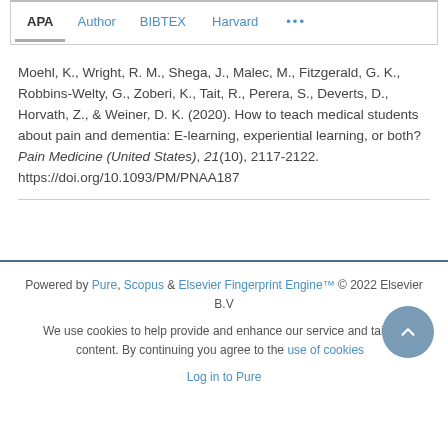APA  Author  BIBTEX  Harvard  ...
Moehl, K., Wright, R. M., Shega, J., Malec, M., Fitzgerald, G. K., Robbins-Welty, G., Zoberi, K., Tait, R., Perera, S., Deverts, D., Horvath, Z., & Weiner, D. K. (2020). How to teach medical students about pain and dementia: E-learning, experiential learning, or both? Pain Medicine (United States), 21(10), 2117-2122. https://doi.org/10.1093/PM/PNAA187
Powered by Pure, Scopus & Elsevier Fingerprint Engine™ © 2022 Elsevier B.V
We use cookies to help provide and enhance our service and tailor content. By continuing you agree to the use of cookies
Log in to Pure